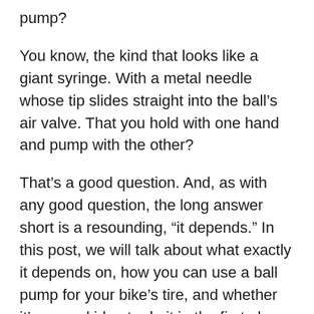pump?
You know, the kind that looks like a giant syringe. With a metal needle whose tip slides straight into the ball’s air valve. That you hold with one hand and pump with the other?
That’s a good question. And, as with any good question, the long answer short is a resounding, “it depends.” In this post, we will talk about what exactly it depends on, how you can use a ball pump for your bike’s tire, and whether it’s a good idea to do it in the first place.